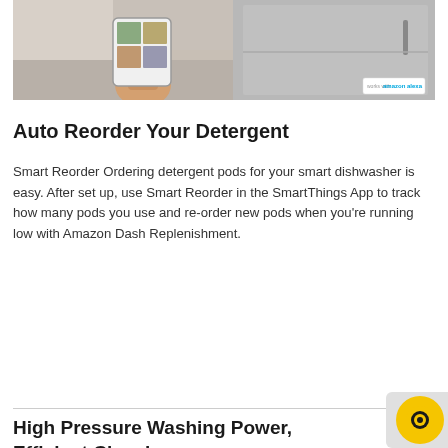[Figure (photo): Photo showing a hand holding a smartphone displaying food/recipe images in a grid layout on the left side, and a Samsung refrigerator with Amazon Alexa badge on the right side.]
Auto Reorder Your Detergent
Smart Reorder Ordering detergent pods for your smart dishwasher is easy. After set up, use Smart Reorder in the SmartThings App to track how many pods you use and re-order new pods when you're running low with Amazon Dash Replenishment.
High Pressure Washing Power, Efficient Cleaning